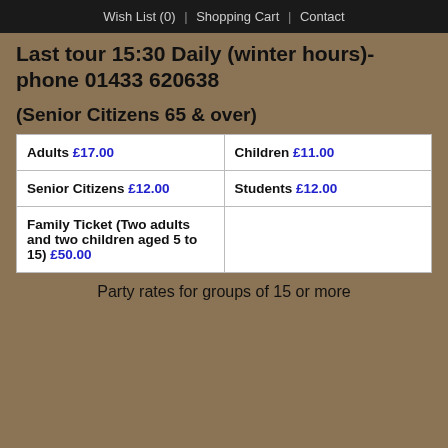Wish List (0)  |  Shopping Cart  |  Contact
Last tour 15:30 Daily (winter hours)- phone 01433 620638
(Senior Citizens 65 & over)
| Adults £17.00 | Children £11.00 |
| Senior Citizens £12.00 | Students £12.00 |
| Family Ticket (Two adults and two children aged 5 to 15) £50.00 |  |
Party rates for groups of 15 or more